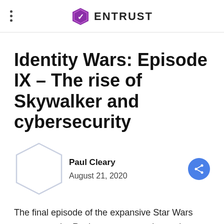ENTRUST
Identity Wars: Episode IX – The rise of Skywalker and cybersecurity
Paul Cleary
August 21, 2020
The final episode of the expansive Star Wars saga sees the Resistance engage in one last, great battle with what has evolved from the First to the Final